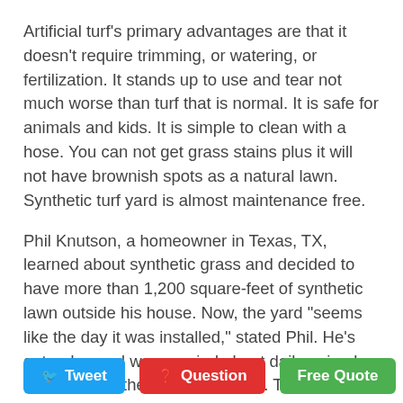Artificial turf's primary advantages are that it doesn't require trimming, or watering, or fertilization. It stands up to use and tear not much worse than turf that is normal. It is safe for animals and kids. It is simple to clean with a hose. You can not get grass stains plus it will not have brownish spots as a natural lawn. Synthetic turf yard is almost maintenance free.
Phil Knutson, a homeowner in Texas, TX, learned about synthetic grass and decided to have more than 1,200 square-feet of synthetic lawn outside his house. Now, the yard "seems like the day it was installed," stated Phil. He's got a dog and was worried about daily animal waste to ruin the look of his lawn. There is no signs of stain! Once every fourteen days or so Phil hose down his lawn to straight it up and to remove any debris. But, as he says, his actual priority was to get off the high-water bill... a message that he passes along to his neighbors with synthetic lawns.